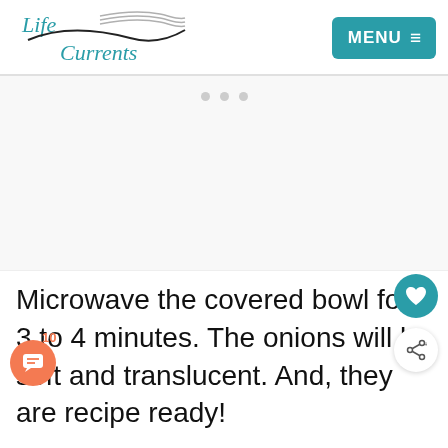Life Currents — MENU
[Figure (other): Advertisement placeholder area with three grey dots]
Microwave the covered bowl for 3 to 4 minutes. The onions will be soft and translucent. And, they are recipe ready!